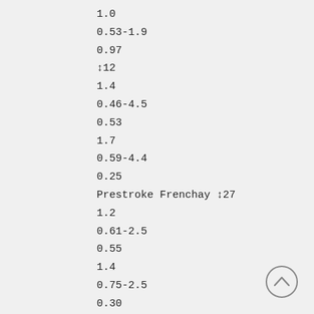1.0
0.53-1.9
0.97
↡12
1.4
0.46-4.5
0.53
1.7
0.59-4.4
0.25
Prestroke Frenchay ↡27
1.2
0.61-2.5
0.55
1.4
0.75-2.5
0.30
Sex (female)
1.1
0.53-2.1
0.87
1.1
0.53-2.1
0.83
[Figure (other): Scroll-up button (circle with upward chevron arrow) in bottom right corner]